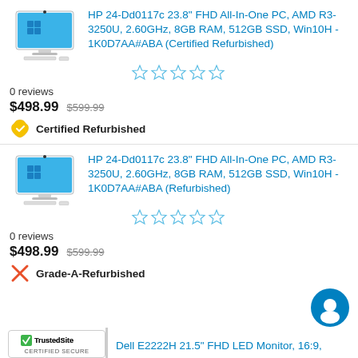[Figure (photo): HP All-In-One PC product image, white desktop computer with blue screen]
HP 24-Dd0117c 23.8" FHD All-In-One PC, AMD R3-3250U, 2.60GHz, 8GB RAM, 512GB SSD, Win10H - 1K0D7AA#ABA (Certified Refurbished)
[Figure (other): 5 empty star rating icons]
0 reviews
$498.99  $599.99
Certified Refurbished
[Figure (photo): HP All-In-One PC product image, white desktop computer with blue screen]
HP 24-Dd0117c 23.8" FHD All-In-One PC, AMD R3-3250U, 2.60GHz, 8GB RAM, 512GB SSD, Win10H - 1K0D7AA#ABA (Refurbished)
[Figure (other): 5 empty star rating icons]
0 reviews
$498.99  $599.99
Grade-A-Refurbished
[Figure (logo): TrustedSite Certified Secure badge]
Dell E2222H 21.5" FHD LED Monitor, 16:9,